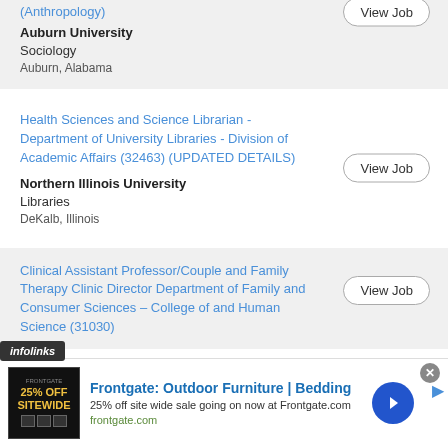(Anthropology)
Auburn University
Sociology
Auburn, Alabama
Health Sciences and Science Librarian - Department of University Libraries - Division of Academic Affairs (32463) (UPDATED DETAILS)
Northern Illinois University
Libraries
DeKalb, Illinois
Clinical Assistant Professor/Couple and Family Therapy Clinic Director Department of Family and Consumer Sciences – College of and Human Science (31030)
[Figure (screenshot): Frontgate advertisement banner: 25% off sitewide sale, outdoor furniture and bedding]
infolinks